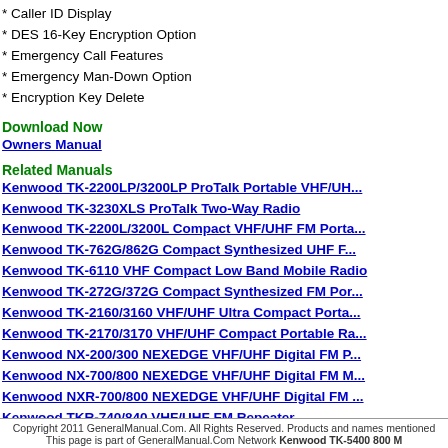* Caller ID Display
* DES 16-Key Encryption Option
* Emergency Call Features
* Emergency Man-Down Option
* Encryption Key Delete
Download Now
Owners Manual
Related Manuals
Kenwood TK-2200LP/3200LP ProTalk Portable VHF/UH...
Kenwood TK-3230XLS ProTalk Two-Way Radio
Kenwood TK-2200L/3200L Compact VHF/UHF FM Porta...
Kenwood TK-762G/862G Compact Synthesized UHF F...
Kenwood TK-6110 VHF Compact Low Band Mobile Radio
Kenwood TK-272G/372G Compact Synthesized FM Por...
Kenwood TK-2160/3160 VHF/UHF Ultra Compact Porta...
Kenwood TK-2170/3170 VHF/UHF Compact Portable Ra...
Kenwood NX-200/300 NEXEDGE VHF/UHF Digital FM P...
Kenwood NX-700/800 NEXEDGE VHF/UHF Digital FM M...
Kenwood NXR-700/800 NEXEDGE VHF/UHF Digital FM ...
Kenwood TKR-740/840 VHF/UHF FM Repeater
Copyright 2011 GeneralManual.Com. All Rights Reserved. Products and names mentioned
This page is part of GeneralManual.Com Network Kenwood TK-5400 800 M